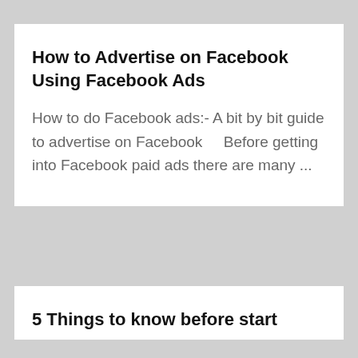How to Advertise on Facebook Using Facebook Ads
How to do Facebook ads:- A bit by bit guide to advertise on Facebook    Before getting into Facebook paid ads there are many ...
5 Things to know before start